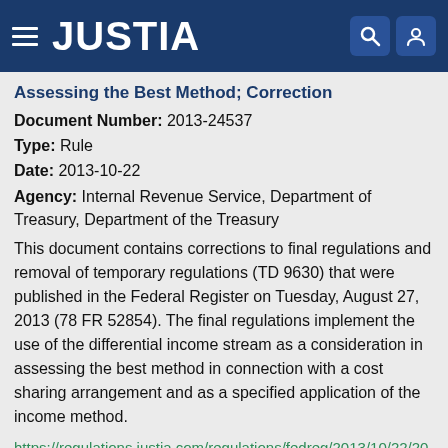JUSTIA
Assessing the Best Method; Correction
Document Number: 2013-24537
Type: Rule
Date: 2013-10-22
Agency: Internal Revenue Service, Department of Treasury, Department of the Treasury
This document contains corrections to final regulations and removal of temporary regulations (TD 9630) that were published in the Federal Register on Tuesday, August 27, 2013 (78 FR 52854). The final regulations implement the use of the differential income stream as a consideration in assessing the best method in connection with a cost sharing arrangement and as a specified application of the income method.
https://regulations.justia.com/regulations/fedreg/2013/10/22/2013-24537.html